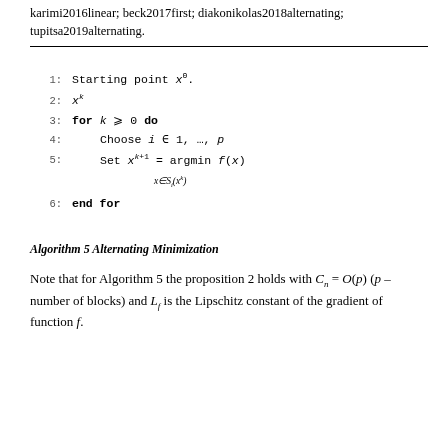karimi2016linear; beck2017first; diakonikolas2018alternating; tupitsa2019alternating.
1: Starting point x^0.
2: x^k
3: for k >= 0 do
4:     Choose i ∈ 1, ..., p
5:     Set x^{k+1} = argmin_{x ∈ S_i(x^k)} f(x)
6: end for
Algorithm 5 Alternating Minimization
Note that for Algorithm 5 the proposition 2 holds with C_n = O(p) (p – number of blocks) and L_f is the Lipschitz constant of the gradient of function f.